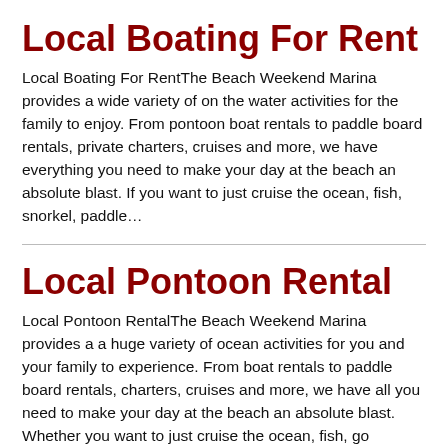Local Boating For Rent
Local Boating For RentThe Beach Weekend Marina provides a wide variety of on the water activities for the family to enjoy. From pontoon boat rentals to paddle board rentals, private charters, cruises and more, we have everything you need to make your day at the beach an absolute blast. If you want to just cruise the ocean, fish, snorkel, paddle…
Local Pontoon Rental
Local Pontoon RentalThe Beach Weekend Marina provides a a huge variety of ocean activities for you and your family to experience. From boat rentals to paddle board rentals, charters, cruises and more, we have all you need to make your day at the beach an absolute blast. Whether you want to just cruise the ocean, fish, go snorkeling, paddle…